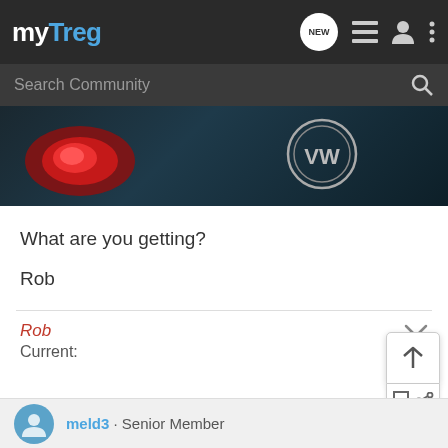myTreg — navigation bar with logo, NEW bubble, list icon, user icon, menu icon
Search Community
[Figure (photo): Dark background photo showing a red taillight and a VW (Volkswagen) emblem on the back of a car]
What are you getting?
Rob
Rob
Current:
meld3 · Senior Member